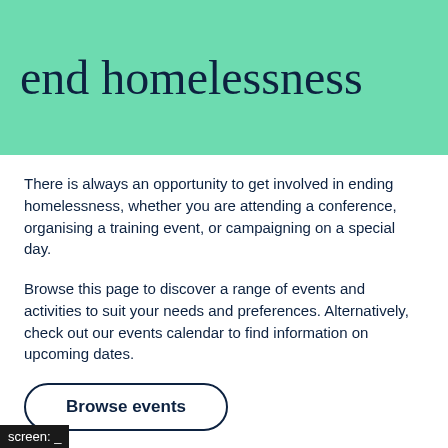end homelessness
There is always an opportunity to get involved in ending homelessness, whether you are attending a conference, organising a training event, or campaigning on a special day.
Browse this page to discover a range of events and activities to suit your needs and preferences. Alternatively, check out our events calendar to find information on upcoming dates.
Browse events
screen: _